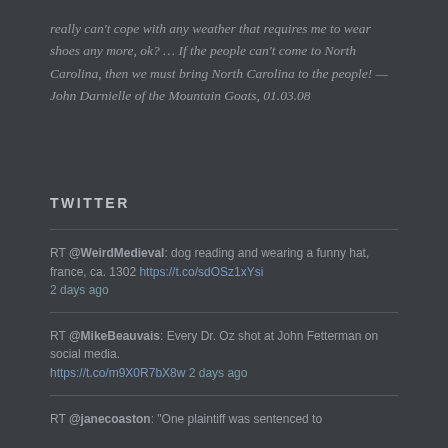really can't cope with any weather that requires me to wear shoes any more, ok? … If the people can't come to North Carolina, then we must bring North Carolina to the people! — John Darnielle of the Mountain Goats, 01.03.08
TWITTER
RT @WeirdMedieval: dog reading and wearing a funny hat, france, ca. 1302 https://t.co/sdOSz1xYsi 2 days ago
RT @MikeBeauvais: Every Dr. Oz shot at John Fetterman on social media. https://t.co/m9X0R7bX8w 2 days ago
RT @janecoaston: "One plaintiff was sentenced to